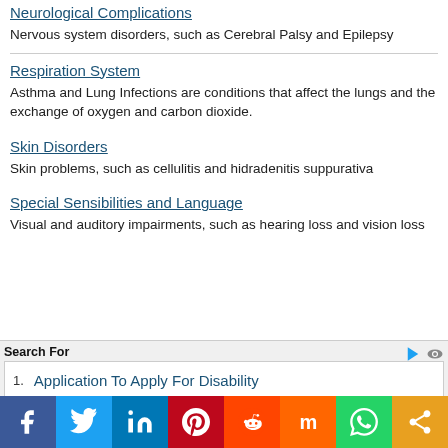Neurological Complications
Nervous system disorders, such as Cerebral Palsy and Epilepsy
Respiration System
Asthma and Lung Infections are conditions that affect the lungs and the exchange of oxygen and carbon dioxide.
Skin Disorders
Skin problems, such as cellulitis and hidradenitis suppurativa
Special Sensibilities and Language
Visual and auditory impairments, such as hearing loss and vision loss
Search For
1. Application To Apply For Disability
[Figure (infographic): Social media share buttons: Facebook, Twitter, LinkedIn, Pinterest, Reddit, Mix, WhatsApp, Share]